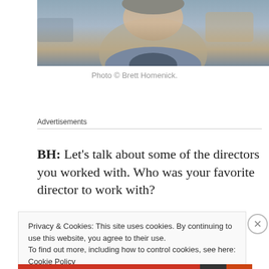[Figure (photo): Partial photo of a person, cropped at top, showing face and shoulders with blurred background]
Photo © Brett Homenick.
Advertisements
BH: Let's talk about some of the directors you worked with. Who was your favorite director to work with?
Privacy & Cookies: This site uses cookies. By continuing to use this website, you agree to their use.
To find out more, including how to control cookies, see here: Cookie Policy
Close and accept